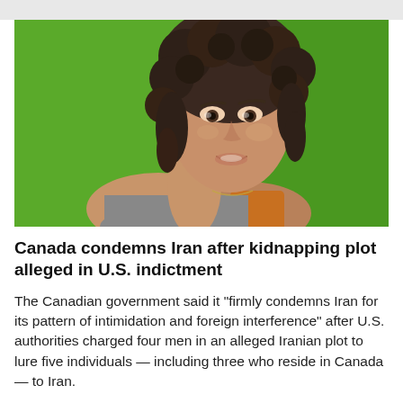[Figure (photo): Portrait of a woman with curly dark hair, resting her chin on her hand, smiling against a bright green background, wearing a grey and orange top.]
Canada condemns Iran after kidnapping plot alleged in U.S. indictment
The Canadian government said it "firmly condemns Iran for its pattern of intimidation and foreign interference" after U.S. authorities charged four men in an alleged Iranian plot to lure five individuals — including three who reside in Canada — to Iran.